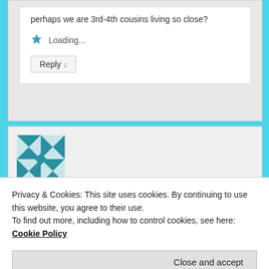perhaps we are 3rd-4th cousins living so close?
Loading...
Reply ↓
[Figure (illustration): Decorative avatar image with teal geometric quilt/pinwheel pattern]
Anusha on August 5, 2017 at 8:11 pm said:
Privacy & Cookies: This site uses cookies. By continuing to use this website, you agree to their use.
To find out more, including how to control cookies, see here: Cookie Policy
Close and accept